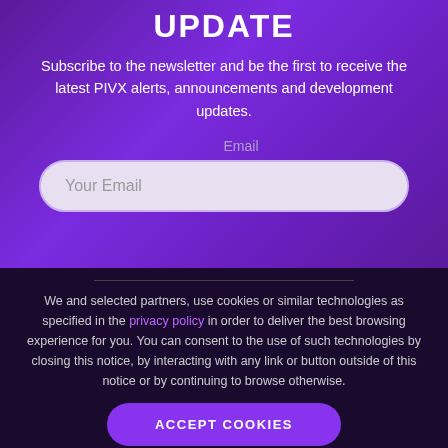UPDATE
Subscribe to the newsletter and be the first to receive the latest PIVX alerts, announcements and development updates.
Email
Your Email
We and selected partners, use cookies or similar technologies as specified in the privacy policy in order to deliver the best browsing experience for you. You can consent to the use of such technologies by closing this notice, by interacting with any link or button outside of this notice or by continuing to browse otherwise.
ACCEPT COOKIES